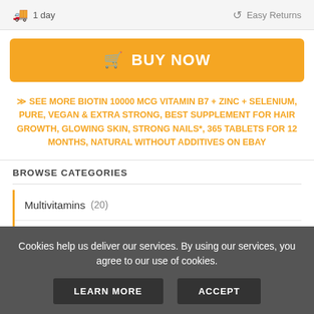1 day   Easy Returns
BUY NOW
SEE MORE BIOTIN 10000 MCG VITAMIN B7 + ZINC + SELENIUM, PURE, VEGAN & EXTRA STRONG, BEST SUPPLEMENT FOR HAIR GROWTH, GLOWING SKIN, STRONG NAILS*, 365 TABLETS FOR 12 MONTHS, NATURAL WITHOUT ADDITIVES ON EBAY
BROWSE CATEGORIES
Multivitamins (20)
Choline (26)
Chromium
Cookies help us deliver our services. By using our services, you agree to our use of cookies.
LEARN MORE   ACCEPT